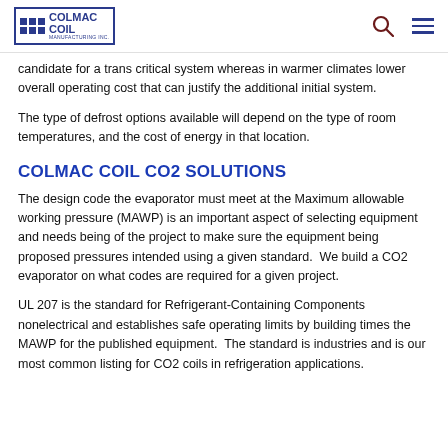Colmac Coil Manufacturing Inc.
candidate for a trans critical system whereas in warmer climates lower overall operating cost that can justify the additional initial system.
The type of defrost options available will depend on the type of room temperatures, and the cost of energy in that location.
COLMAC COIL CO2 SOLUTIONS
The design code the evaporator must meet at the Maximum allowable working pressure (MAWP) is an important aspect of selecting equipment and needs being of the project to make sure the equipment being proposed pressures intended using a given standard.  We build a CO2 evaporator on what codes are required for a given project.
UL 207 is the standard for Refrigerant-Containing Components nonelectrical and establishes safe operating limits by building times the MAWP for the published equipment.  The standard is industries and is our most common listing for CO2 coils in refrigeration applications.